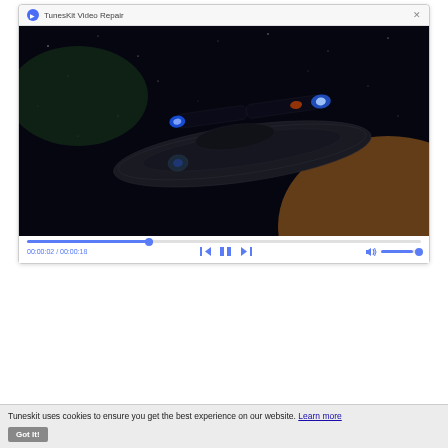[Figure (screenshot): TunesKit Video Repair application window showing a video player with a sci-fi spaceship scene. The video is at 00:00:02 / 00:00:18 with playback controls and a progress/volume bar.]
Part 3. Why Does a Video Header Get Corrupted
Tuneskit uses cookies to ensure you get the best experience on our website. Learn more
Got It!